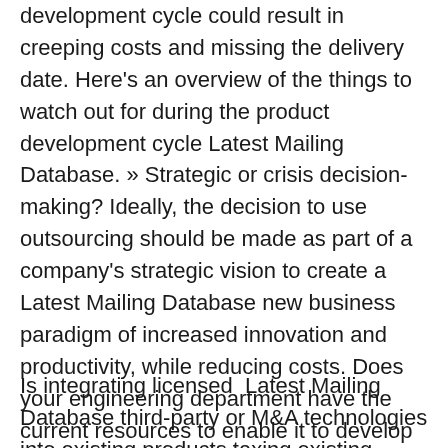development cycle could result in creeping costs and missing the delivery date. Here's an overview of the things to watch out for during the product development cycle Latest Mailing Database. » Strategic or crisis decision-making? Ideally, the decision to use outsourcing should be made as part of a company's strategic vision to create a Latest Mailing Database new business paradigm of increased innovation and productivity, while reducing costs. Does your engineering department have the current resources to enable it to develop innovative new products or Latest Mailing Database is it desperately rushing products out the door?
Is integrating licensed  Latest Mailing Database third-party or M&A technologies into existing products taxing existing resources? When you have to call a